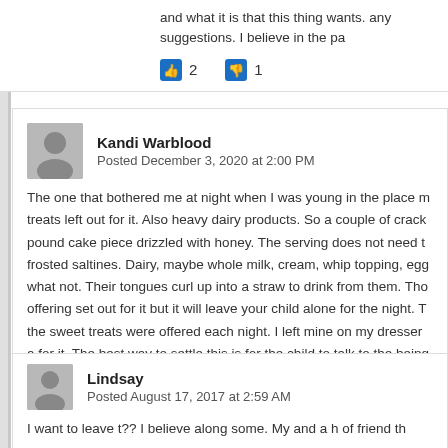and what it is that this thing wants. any suggestions. I believe in the pa
👍 2   👎 1
Kandi Warblood
Posted December 3, 2020 at 2:00 PM
The one that bothered me at night when I was young in the place m treats left out for it. Also heavy dairy products. So a couple of crack pound cake piece drizzled with honey. The serving does not need t frosted saltines. Dairy, maybe whole milk, cream, whip topping, egg what not. Their tongues curl up into a straw to drink from them. Tho offering set out for it but it will leave your child alone for the night. T the sweet treats were offered each night. I left mine on my dresser a for it. The best way to settle this is for the child to talk to the being in can leave a sweety treat offering.
Lindsay
Posted August 17, 2017 at 2:59 AM
I want to leave t?? I believe along some. My and a h of friend th